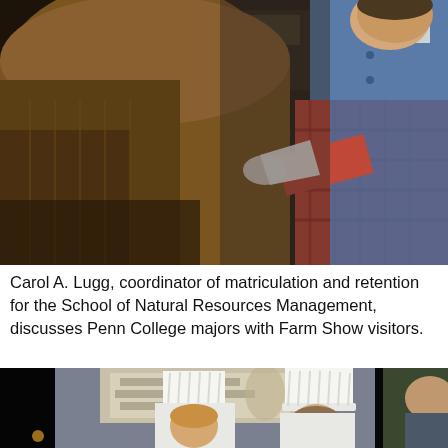[Figure (photo): Carol A. Lugg in conversation with a Farm Show visitor. A person in a brown corduroy jacket is seen from behind on the left, while a person wearing a denim vest over a red plaid shirt stands on the right, holding papers.]
Carol A. Lugg, coordinator of matriculation and retention for the School of Natural Resources Management, discusses Penn College majors with Farm Show visitors.
[Figure (photo): Two people wearing white chef's toques (tall chef hats) are seen from behind or in profile, working at a station in front of a Penn College display banner that reads 'The classroom environment is unique here.' Another person is visible on the right side.]